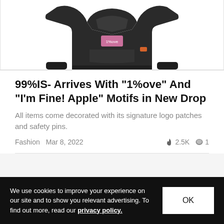[Figure (photo): Dark charcoal/black cropped hoodie with pink graphic print on front, displayed against white background]
99%IS- Arrives With "1%ove" And "I'm Fine! Apple" Motifs in New Drop
All items come decorated with its signature logo patches and safety pins.
Fashion  Mar 8, 2022  🔥 2.5K  💬 1
We use cookies to improve your experience on our site and to show you relevant advertising. To find out more, read our privacy policy.